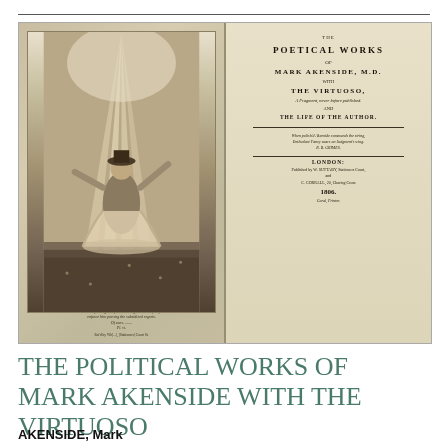[Figure (photo): Scan of an open antique book showing two pages: the left page has an engraved illustration of a female figure in flowing robes dancing or floating, with a verse caption below and a credit line; the right page is the title page reading 'THE POETICAL WORKS OF MARK AKENSIDE, M.D. WITH THE VIRTUOSO, A Fragment, never before published. AND THE LIFE OF THE AUTHOR.' with a quote, publication details: LONDON: Published by W. SUTTABY, Stationers Court, and C. CORRALL, 20, Charing Cross. 1806. Coral, Printer.]
THE POLITICAL WORKS OF MARK AKENSIDE WITH THE VIRTUOSO
AKENSIDE, Mark